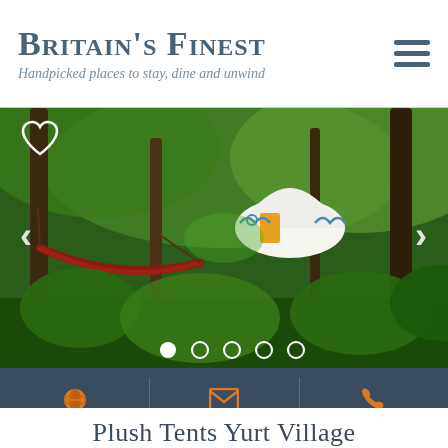Britain's Finest — Handpicked places to stay, dine and unwind
[Figure (photo): Outdoor glamping scene with yurt/tent visible through lush green woodland, a red hammock in the foreground, green foliage throughout, carousel with 5 dots indicator, heart icon top-left, navigation arrows on left and right sides.]
VISIT WEBSITE | EMAIL THEM | CALL THEM
Plush Tents Yurt Village